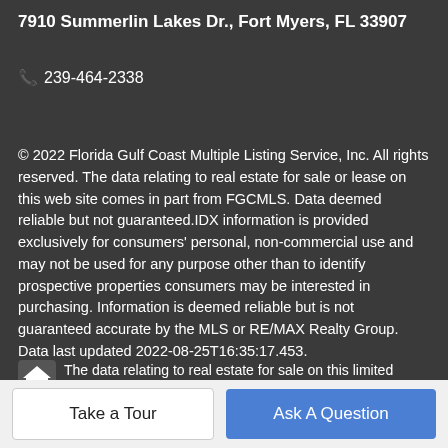7910 Summerlin Lakes Dr., Fort Myers, FL 33907
📞 239-464-2338
© 2022 Florida Gulf Coast Multiple Listing Service, Inc. All rights reserved. The data relating to real estate for sale or lease on this web site comes in part from FGCMLS. Data deemed reliable but not guaranteed.IDX information is provided exclusively for consumers' personal, non-commercial use and may not be used for any purpose other than to identify prospective properties consumers may be interested in purchasing. Information is deemed reliable but is not guaranteed accurate by the MLS or RE/MAX Realty Group. Data last updated 2022-08-25T16:35:17.453.
The data relating to real estate for sale on this limited electronic display comes in part from the Broker Reciprocity
Take a Tour
Ask A Question